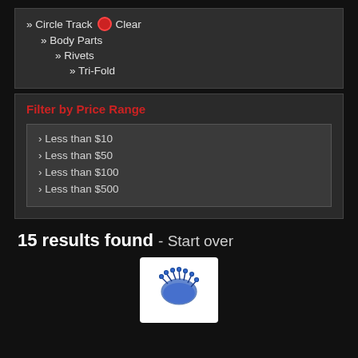» Circle Track  Clear
» Body Parts
» Rivets
» Tri-Fold
Filter by Price Range
› Less than $10
› Less than $50
› Less than $100
› Less than $500
15 results found  -  Start over
[Figure (photo): Product image showing blue rivets or small metal fasteners on a white background card]